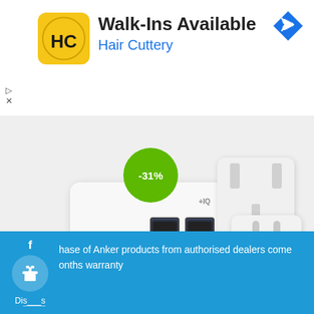[Figure (screenshot): Advertisement banner for Hair Cuttery salon with yellow logo featuring HC letters, text Walk-Ins Available and Hair Cuttery in blue, with a blue diamond navigation icon top right]
[Figure (photo): Product photo of an Anker 4-port USB wall charger in white with PowerIQ branding, shown alongside UK and EU plug adapters on a light grey background, with a green -31% discount badge overlay]
hase of Anker products from authorised dealers come onths warranty